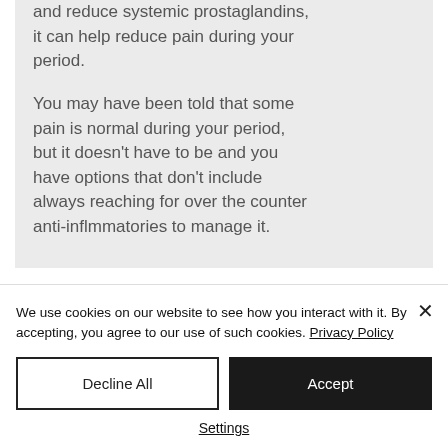and reduce systemic prostaglandins, it can help reduce pain during your period.
You may have been told that some pain is normal during your period, but it doesn't have to be and you have options that don't include always reaching for over the counter anti-inflmmatories to manage it.
We use cookies on our website to see how you interact with it. By accepting, you agree to our use of such cookies. Privacy Policy